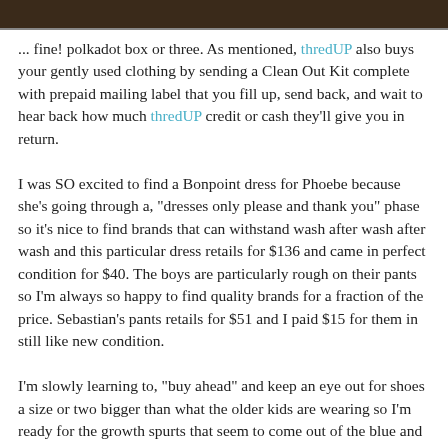[Figure (photo): Top portion of a photo showing a dark brown wooden surface, cropped at the top of the page.]
... fine! polkadot box or three. As mentioned, thredUP also buys your gently used clothing by sending a Clean Out Kit complete with prepaid mailing label that you fill up, send back, and wait to hear back how much thredUP credit or cash they'll give you in return.

I was SO excited to find a Bonpoint dress for Phoebe because she's going through a, "dresses only please and thank you" phase so it's nice to find brands that can withstand wash after wash after wash and this particular dress retails for $136 and came in perfect condition for $40. The boys are particularly rough on their pants so I'm always so happy to find quality brands for a fraction of the price. Sebastian's pants retails for $51 and I paid $15 for them in still like new condition.

I'm slowly learning to, "buy ahead" and keep an eye out for shoes a size or two bigger than what the older kids are wearing so I'm ready for the growth spurts that seem to come out of the blue and don't have to run out and pay more